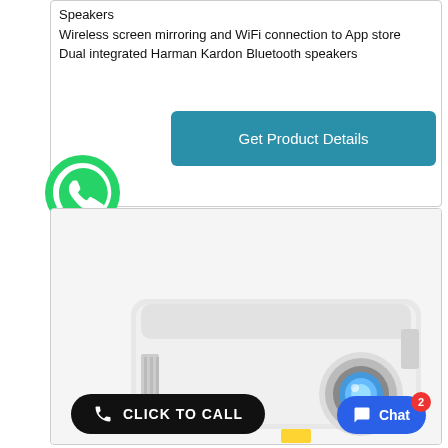Speakers
Wireless screen mirroring and WiFi connection to App store
Dual integrated Harman Kardon Bluetooth speakers
Get Product Details
[Figure (logo): WhatsApp green phone icon]
[Figure (photo): White projector with glowing blue lens]
CLICK TO CALL
Chat